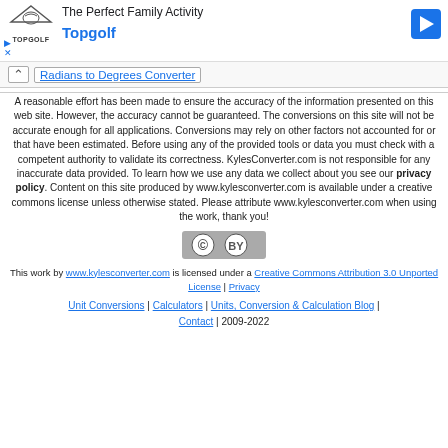[Figure (advertisement): Topgolf advertisement banner with logo, 'The Perfect Family Activity' headline, and navigation arrow icon]
Radians to Degrees Converter
A reasonable effort has been made to ensure the accuracy of the information presented on this web site. However, the accuracy cannot be guaranteed. The conversions on this site will not be accurate enough for all applications. Conversions may rely on other factors not accounted for or that have been estimated. Before using any of the provided tools or data you must check with a competent authority to validate its correctness. KylesConverter.com is not responsible for any inaccurate data provided. To learn how we use any data we collect about you see our privacy policy. Content on this site produced by www.kylesconverter.com is available under a creative commons license unless otherwise stated. Please attribute www.kylesconverter.com when using the work, thank you!
[Figure (logo): Creative Commons BY license logo/badge]
This work by www.kylesconverter.com is licensed under a Creative Commons Attribution 3.0 Unported License | Privacy
Unit Conversions | Calculators | Units, Conversion & Calculation Blog | Contact | 2009-2022